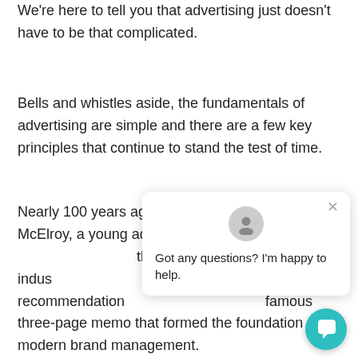We're here to tell you that advertising just doesn't have to be that complicated.
Bells and whistles aside, the fundamentals of advertising are simple and there are a few key principles that continue to stand the test of time.
Nearly 100 years ago – back in 1931 – Neil McElroy, a young advertiser at P&G … the advertising indus… His recommendation… famous three-page memo that formed the foundation of modern brand management.